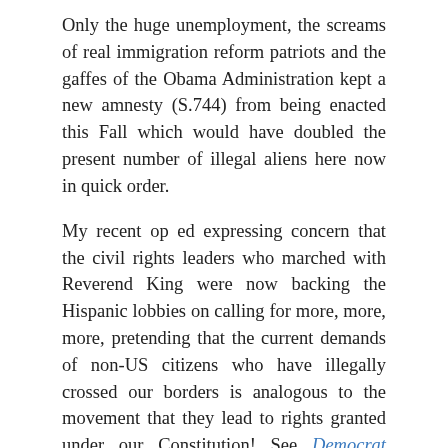Only the huge unemployment, the screams of real immigration reform patriots and the gaffes of the Obama Administration kept a new amnesty (S.744) from being enacted this Fall which would have doubled the present number of illegal aliens here now in quick order.
My recent op ed expressing concern that the civil rights leaders who marched with Reverend King were now backing the Hispanic lobbies on calling for more, more, more, pretending that the current demands of non-US citizens who have illegally crossed our borders is analogous to the movement that they lead to rights granted under our Constitution! See Democrat Asks: Will African-Americans Opt For Luis Gutierrez-Style Tribal Division—Or American Unity?
The reaction from many real immigration patriots was to call me a naïf, a starry eyed dreamer or generously acknowledged that two points did hit the tradition…